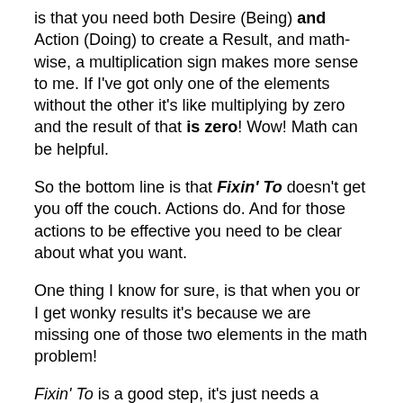is that you need both Desire (Being) and Action (Doing) to create a Result, and math-wise, a multiplication sign makes more sense to me.  If I've got only one of the elements without the other it's like multiplying by zero and the result of that is zero!  Wow!  Math can be helpful.
So the bottom line is that Fixin' To doesn't get you off the couch.  Actions do.  And for those actions to be effective you need to be clear about what you want.
One thing I know for sure, is that when you or I get wonky results it's because we are missing one of those two elements in the math problem!
Fixin' To is a good step, it's just needs a partner like action. How about aligning the two together?
Ka-ching